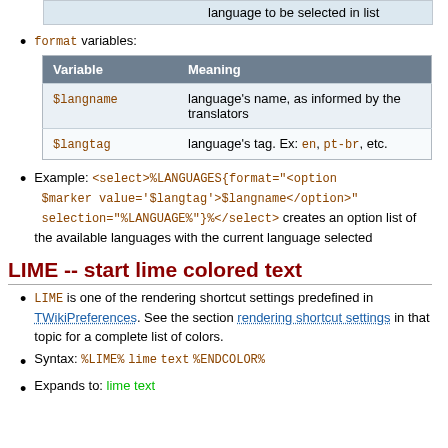|  | language to be selected in list |
format variables:
| Variable | Meaning |
| --- | --- |
| $langname | language's name, as informed by the translators |
| $langtag | language's tag. Ex: en, pt-br, etc. |
Example: <select>%LANGUAGES{format="<option $marker value='$langtag'>$langname</option>" selection="%LANGUAGE%"}%</select> creates an option list of the available languages with the current language selected
LIME -- start lime colored text
LIME is one of the rendering shortcut settings predefined in TWikiPreferences. See the section rendering shortcut settings in that topic for a complete list of colors.
Syntax: %LIME% lime text %ENDCOLOR%
Expands to: lime text